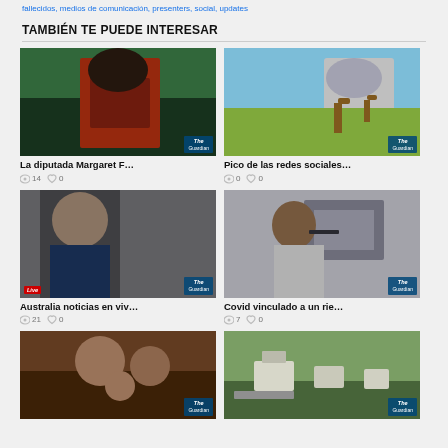fallecidos, medios de comunicación, presenters, social, updates
TAMBIÉN TE PUEDE INTERESAR
[Figure (photo): Woman in red jacket with dark hair, The Guardian logo]
La diputada Margaret F…
👁 14   ♡ 0
[Figure (photo): Giraffes in savanna with mountain, The Guardian logo]
Pico de las redes sociales…
👁 0   ♡ 0
[Figure (photo): Bald man in suit, Live Guardian badge]
Australia noticias en viv…
👁 21   ♡ 0
[Figure (photo): Man stressed at desk with laptop, The Guardian logo]
Covid vinculado a un rie…
👁 7   ♡ 0
[Figure (photo): Family on couch, The Guardian logo]
[Figure (photo): Rural landscape with church and Dungoma sign, The Guardian logo]